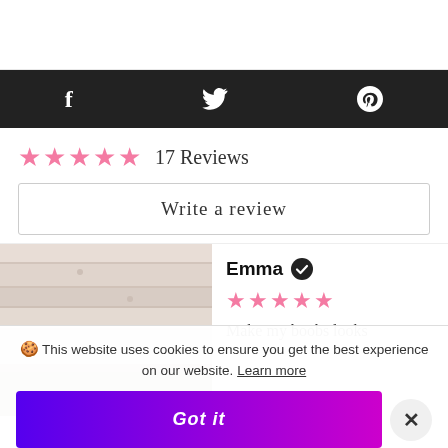[Figure (screenshot): Top white bar area]
[Figure (screenshot): Social sharing dark bar with Facebook, Twitter, and Pinterest icons]
17 Reviews
Write a review
[Figure (photo): Photo of wooden surface/panel, light pinkish-beige tone]
Emma ✓
Make my boobs looks
🍪 This website uses cookies to ensure you get the best experience on our website. Learn more
Got it